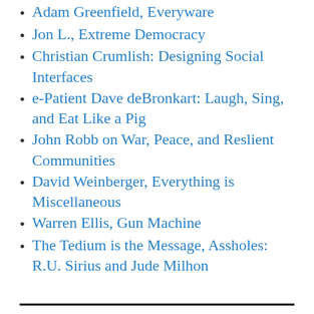Adam Greenfield, Everyware
Jon L., Extreme Democracy
Christian Crumlish: Designing Social Interfaces
e-Patient Dave deBronkart: Laugh, Sing, and Eat Like a Pig
John Robb on War, Peace, and Reslient Communities
David Weinberger, Everything is Miscellaneous
Warren Ellis, Gun Machine
The Tedium is the Message, Assholes: R.U. Sirius and Jude Milhon